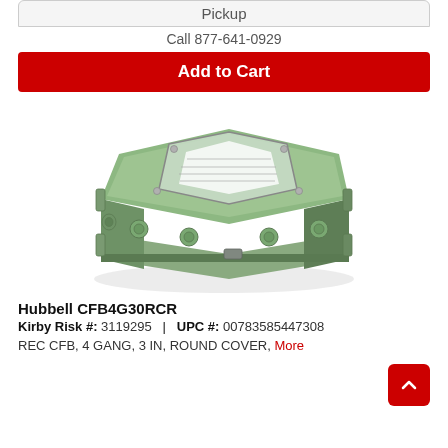Pickup
Call 877-641-0929
Add to Cart
[Figure (photo): Product photo of Hubbell CFB4G30RCR — a green metal 4-gang floor box with a clear octagonal plastic cover and multiple knockouts on the sides]
Hubbell CFB4G30RCR
Kirby Risk #: 3119295  |  UPC #: 00783585447308
REC CFB, 4 GANG, 3 IN, ROUND COVER, More